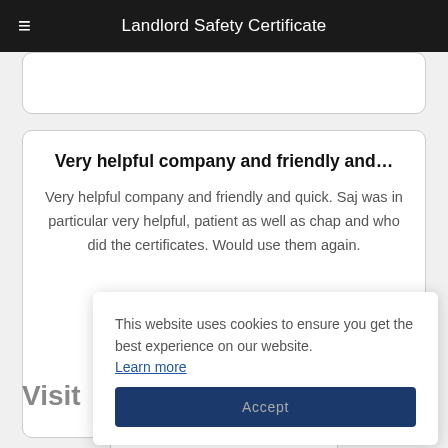Landlord Safety Certificate
Very helpful company and friendly and…
Very helpful company and friendly and quick. Saj was in particular very helpful, patient as well as chap and who did the certificates. Would use them again.
This website uses cookies to ensure you get the best experience on our website. Learn more
Accept
Visit